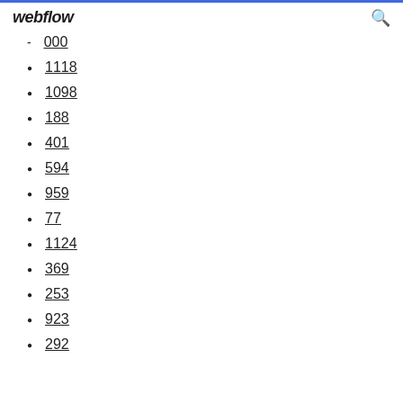webflow
000
1118
1098
188
401
594
959
77
1124
369
253
923
292